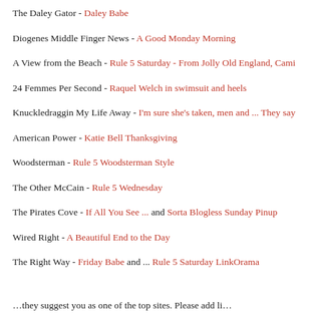The Daley Gator - Daley Babe
Diogenes Middle Finger News - A Good Monday Morning
A View from the Beach - Rule 5 Saturday - From Jolly Old England, Cami...
24 Femmes Per Second - Raquel Welch in swimsuit and heels
Knuckledraggin My Life Away - I'm sure she's taken, men and ... They say
American Power - Katie Bell Thanksgiving
Woodsterman - Rule 5 Woodsterman Style
The Other McCain - Rule 5 Wednesday
The Pirates Cove - If All You See ... and Sorta Blogless Sunday Pinup
Wired Right - A Beautiful End to the Day
The Right Way - Friday Babe and ... Rule 5 Saturday LinkOrama
...they suggest you as one of the top sites. Please add li...